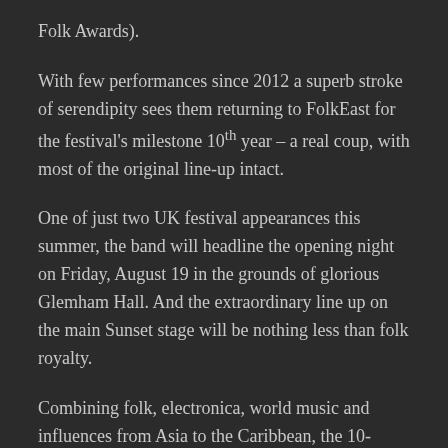Folk Awards).
With few performances since 2012 a superb stroke of serendipity sees them returning to FolkEast for the festival's milestone 10th year – a real coup, with most of the original line-up intact.
One of just two UK festival appearances this summer, the band will headline the opening night on Friday, August 19 in the grounds of glorious Glemham Hall. And the extraordinary line up on the main Sunset stage will be nothing less than folk royalty.
Combining folk, electronica, world music and influences from Asia to the Caribbean, the 10-strong band will feature the UK's foremost political singer-songwriter – the 'Bard of Barking' himself, Billy Bragg, alongside the great Eliza and Martin Carthy.